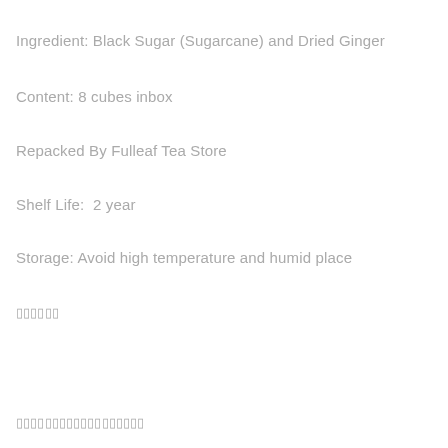Ingredient: Black Sugar (Sugarcane) and Dried Ginger
Content: 8 cubes inbox
Repacked By Fulleaf Tea Store
Shelf Life:  2 year
Storage: Avoid high temperature and humid place
▯▯▯▯▯▯
▯▯▯▯▯▯▯▯▯▯▯▯▯▯▯▯▯▯